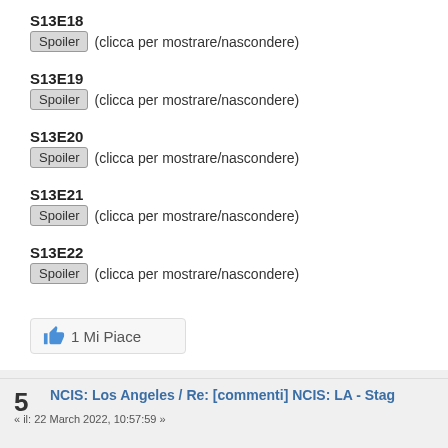S13E18
Spoiler (clicca per mostrare/nascondere)
S13E19
Spoiler (clicca per mostrare/nascondere)
S13E20
Spoiler (clicca per mostrare/nascondere)
S13E21
Spoiler (clicca per mostrare/nascondere)
S13E22
Spoiler (clicca per mostrare/nascondere)
1 Mi Piace
5 NCIS: Los Angeles / Re: [commenti] NCIS: LA - Stag
« il: 22 March 2022, 10:57:59 »